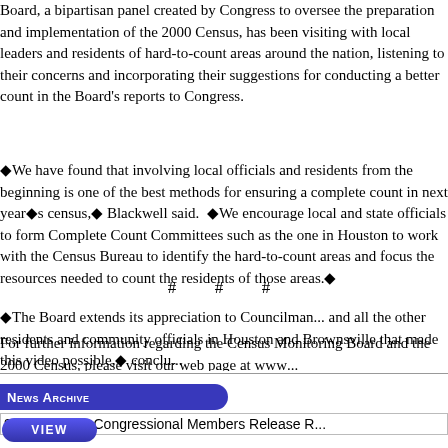Board, a bipartisan panel created by Congress to oversee the preparation and implementation of the 2000 Census, has been visiting with local leaders and residents of hard-to-count areas around the nation, listening to their concerns and incorporating their suggestions for conducting a better count in the Board's reports to Congress.
We have found that involving local officials and residents from the beginning is one of the best methods for ensuring a complete count in next year's census, Blackwell said. We encourage local and state officials to form Complete Count Committees such as the one in Houston to work with the Census Bureau to identify the hard-to-count areas and focus the resources needed to count the residents of those areas.
The Board extends its appreciation to Councilman... and all the other residents and community officials in Houston and Brownsville that made this video possible, conclu...
For further information regarding the Census Monitoring Board and the 2000 Census, please visit our web page at www...
# # #
News Archive
9/30/01: CMB Congressional Members Release R...